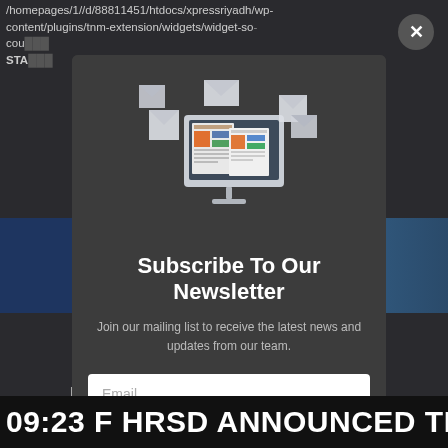/homepages/1//d/88811451/htdocs/xpressriyadh/wp-content/plugins/tnm-extension/widgets/widget-so-count... STA...
[Figure (screenshot): Newsletter subscription modal popup on a dark website background. Modal contains an illustration of a computer monitor with newspaper/email graphics, title 'Subscribe To Our Newsletter', body text, email input field, and orange subscribe button. A close (X) button appears in the top-right corner of the modal.]
Subscribe To Our Newsletter
Join our mailing list to receive the latest news and updates from our team.
Email
09:23  F HRSD ANNOUNCED THE